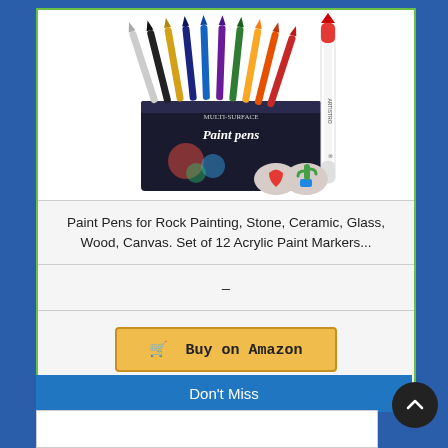[Figure (photo): Product photo of Artistro paint pens set showing multiple colored markers fanned out, their retail box labeled 'Multi-Surface Paint Pens', a single red marker standing upright, and two small decorated rocks (heart and cactus).]
Paint Pens for Rock Painting, Stone, Ceramic, Glass, Wood, Canvas. Set of 12 Acrylic Paint Markers...
–
🛒  Buy on Amazon
Don't Miss